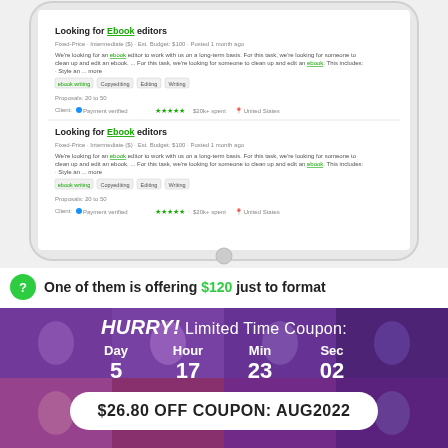[Figure (screenshot): Tablet screenshot showing two Upwork job listings titled 'Looking for Ebook editors' with tags: ebook writing, Copyediting, Editing, Writing. Each listing shows Fixed-Price, Intermediate ($), Est. Budget $100, Posted 1 month ago, Proposals: 20 to 50, Client Payment verified, 5 stars, $20k+ spent, United States.]
One of them is offering $120 just to format
HURRY! Limited Time Coupon:
Day 5  Hour 17  Min 23  Sec 02
$26.80 OFF COUPON: AUG2022